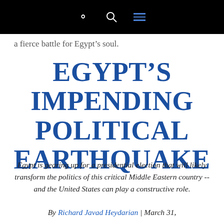[navigation bar with search and menu icons]
a fierce battle for Egypt's soul.
EGYPT'S IMPENDING POLITICAL EARTHQUAKE
Egypt is gearing up for a presidential election that will likely transform the politics of this critical Middle Eastern country -- and the United States can play a constructive role.
By Richard Javad Heydarian | March 31,